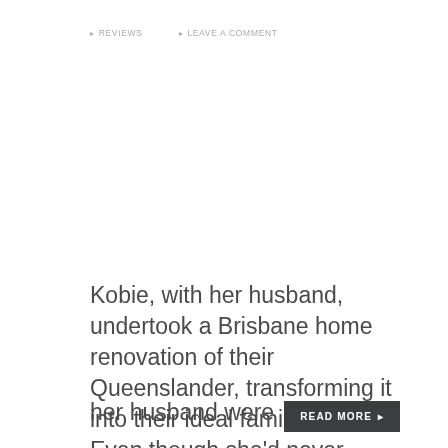☐ REVIEWS   ☐ LEAVE A COMMENT
Kobie, with her husband, undertook a Brisbane home renovation of their Queenslander, transforming it into their ideal family home. Even though she'd never renovated before, she and her husband were
READ MORE ▸